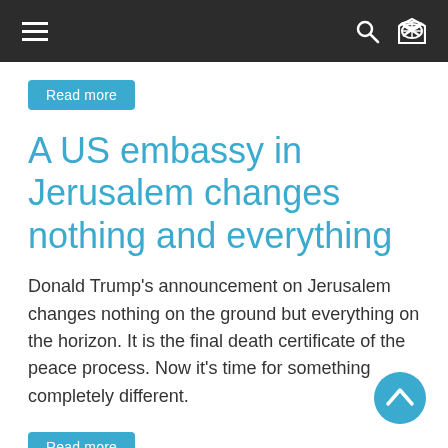Navigation bar with hamburger menu, search and shuffle icons
Read more
A US embassy in Jerusalem changes nothing and everything
Donald Trump's announcement on Jerusalem changes nothing on the ground but everything on the horizon. It is the final death certificate of the peace process. Now it's time for something completely different.
Read more
The sound of religious discord